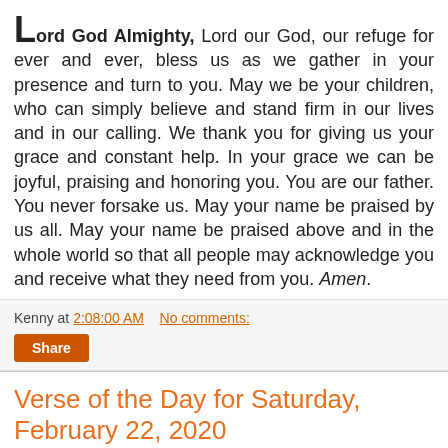Lord God Almighty, Lord our God, our refuge for ever and ever, bless us as we gather in your presence and turn to you. May we be your children, who can simply believe and stand firm in our lives and in our calling. We thank you for giving us your grace and constant help. In your grace we can be joyful, praising and honoring you. You are our father. You never forsake us. May your name be praised by us all. May your name be praised above and in the whole world so that all people may acknowledge you and receive what they need from you. Amen.
Kenny at 2:08:00 AM   No comments:
Share
Verse of the Day for Saturday, February 22, 2020